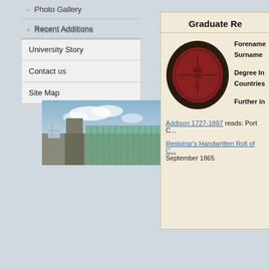- Photo Gallery
- Recent Additions
University Story
Contact us
Site Map
[Figure (photo): Photo of a modern university building with glass panels and blue sky]
Graduate Re...
Forename: Surname: Degree In: Countries: Further in...
[Figure (photo): University wax seal, dark red/maroon circular stamp with embossed crest]
Addison 1727-1897 reads: Port C...
Registrar's Handwritten Roll of C... September 1865